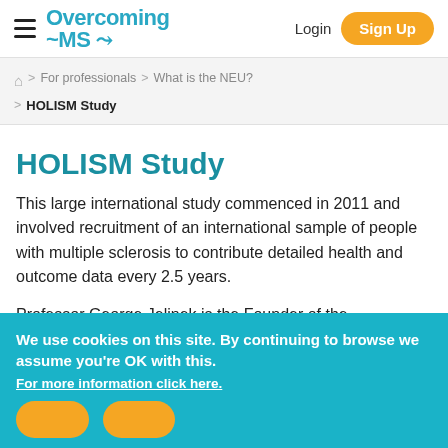Overcoming MS — Login | Sign Up
Home > For professionals > What is the NEU? > HOLISM Study
HOLISM Study
This large international study commenced in 2011 and involved recruitment of an international sample of people with multiple sclerosis to contribute detailed health and outcome data every 2.5 years.
Professor George Jelinek is the Founder of the
We use cookies on this site. By continuing to browse we assume you're OK with this.
For more information click here.